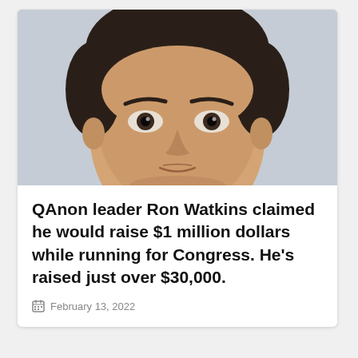[Figure (photo): Close-up portrait photo of a man's face with dark hair and dark eyes against a light blue-gray background]
QAnon leader Ron Watkins claimed he would raise $1 million dollars while running for Congress. He's raised just over $30,000.
February 13, 2022